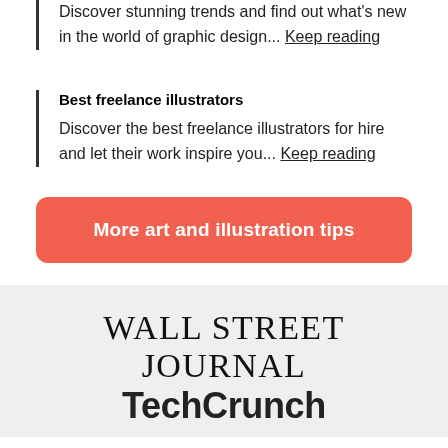Discover stunning trends and find out what's new in the world of graphic design... Keep reading
Best freelance illustrators
Discover the best freelance illustrators for hire and let their work inspire you... Keep reading
More art and illustration tips
[Figure (logo): WALL STREET JOURNAL logo in serif font]
[Figure (logo): TechCrunch logo in bold sans-serif font]